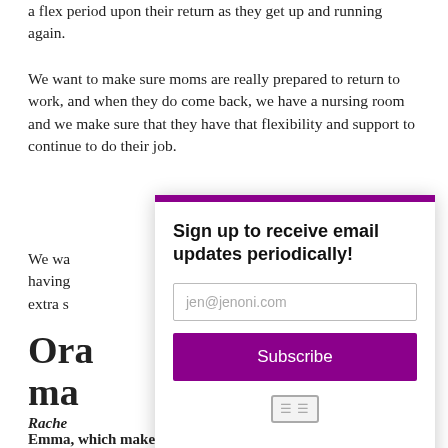a flex period upon their return as they get up and running again.
We want to make sure moms are really prepared to return to work, and when they do come back, we have a nursing room and we make sure that they have that flexibility and support to continue to do their job.
We wa... having... extra s...
Ora... ma...
Rache...
Emma, which makes a lot of senseâ€˞you have a shared
[Figure (screenshot): Email subscription modal popup with purple top border, heading 'Sign up to receive email updates periodically!', email input field showing 'jen@jenoni.com', purple Subscribe button, and a small icon at bottom.]